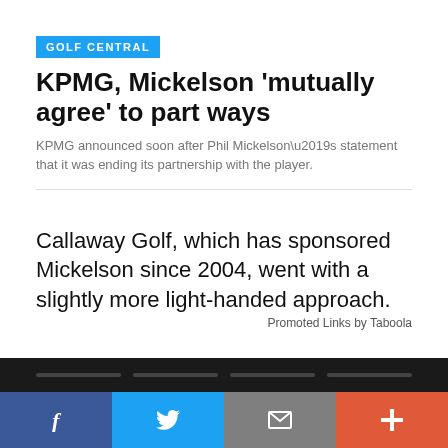GOLF CENTRAL
KPMG, Mickelson 'mutually agree' to part ways
KPMG announced soon after Phil Mickelson’s statement that it was ending its partnership with the player.
Callaway Golf, which has sponsored Mickelson since 2004, went with a slightly more light-handed approach.
Promoted Links by Taboola
f  Twitter  Email  +